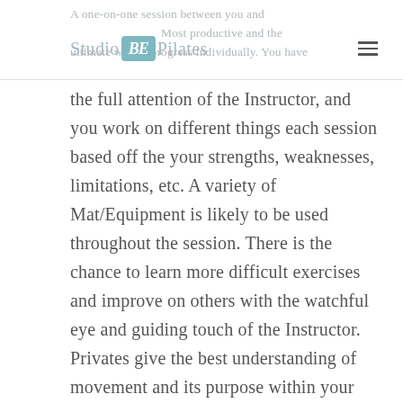A one-on-one session between you and Studio BE Pilates. Most productive and the ultimate way to progress individually. You have
the full attention of the Instructor, and you work on different things each session based off the your strengths, weaknesses, limitations, etc. A variety of Mat/Equipment is likely to be used throughout the session. There is the chance to learn more difficult exercises and improve on others with the watchful eye and guiding touch of the Instructor. Privates give the best understanding of movement and its purpose within your own body—they are the place you really learn Pilates. All that said, it is on the higher end of the price range, so it is more of an investment.